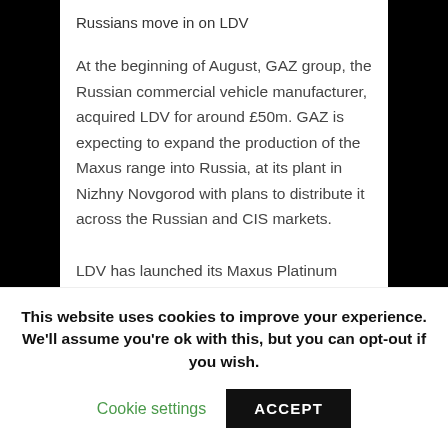Russians move in on LDV
At the beginning of August, GAZ group, the Russian commercial vehicle manufacturer, acquired LDV for around £50m. GAZ is expecting to expand the production of the Maxus range into Russia, at its plant in Nizhny Novgorod with plans to distribute it across the Russian and CIS markets.
LDV has launched its Maxus Platinum range, in both long and short wheelbase variants. LDV is offering the model in three weights including; 2.8t, 3.3t and 3.5t and in both roof heights. As well as the
This website uses cookies to improve your experience. We'll assume you're ok with this, but you can opt-out if you wish.
Cookie settings    ACCEPT